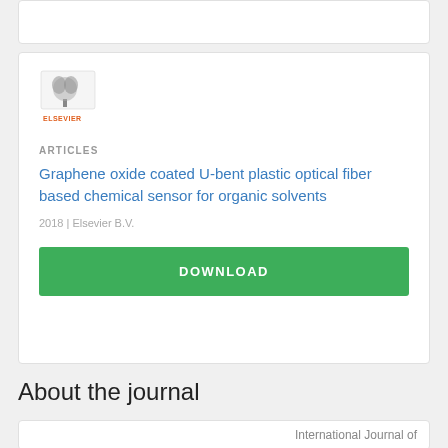[Figure (logo): Elsevier logo with tree graphic and orange ELSEVIER text]
ARTICLES
Graphene oxide coated U-bent plastic optical fiber based chemical sensor for organic solvents
2018 | Elsevier B.V.
DOWNLOAD
About the journal
International Journal of